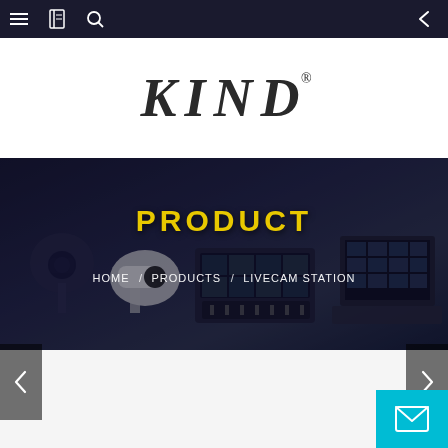Navigation bar with menu, bookmarks, search icons and back arrow
[Figure (logo): KIND brand logo with registered trademark symbol, bold serif italic lettering on white background]
[Figure (photo): Hero banner showing AV/broadcast equipment including PTZ cameras, video switcher, and multi-screen laptop, with dark blue overlay]
PRODUCT
HOME / PRODUCTS / LIVECAM STATION
[Figure (other): Left navigation arrow button (dark semi-transparent)]
[Figure (other): Right navigation arrow button (dark semi-transparent)]
[Figure (other): Contact/email button in cyan/teal color at bottom right]